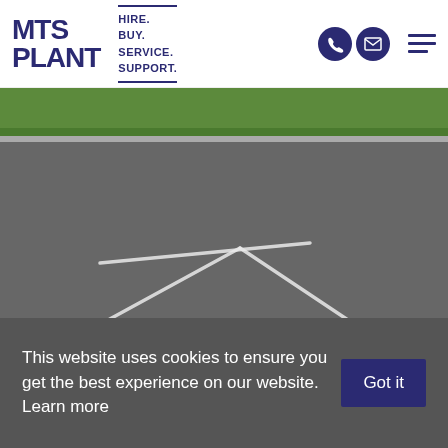[Figure (logo): MTS PLANT logo with tagline HIRE. BUY. SERVICE. SUPPORT. and contact icons]
[Figure (photo): Aerial view of a road with white painted road markings forming a triangle/arrow shape, with green grass verge at top]
This website uses cookies to ensure you get the best experience on our website. Learn more
Got it